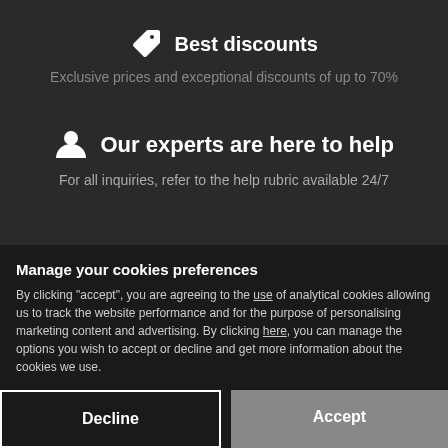Best discounts
Exclusive prices and exceptional discounts of up to 70%
Our experts are here to help
For all inquiries, refer to the help rubric available 24/7
Secure payment
Manage your cookies preferences
By clicking "accept", you are agreeing to the use of analytical cookies allowing us to track the website performance and for the purpose of personalising marketing content and advertising. By clicking here, you can manage the options you wish to accept or decline and get more information about the cookies we use.
Decline
Accept